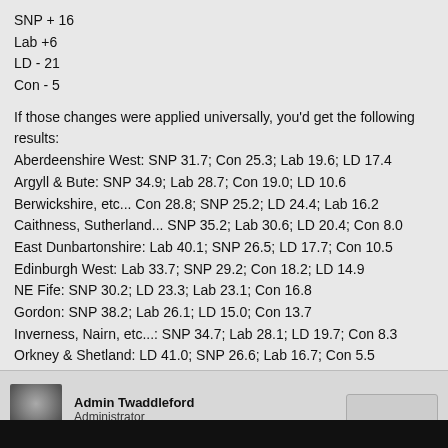SNP + 16
Lab +6
LD - 21
Con - 5
If those changes were applied universally, you'd get the following results:
Aberdeenshire West: SNP 31.7; Con 25.3; Lab 19.6; LD 17.4
Argyll & Bute: SNP 34.9; Lab 28.7; Con 19.0; LD 10.6
Berwickshire, etc... Con 28.8; SNP 25.2; LD 24.4; Lab 16.2
Caithness, Sutherland... SNP 35.2; Lab 30.6; LD 20.4; Con 8.0
East Dunbartonshire: Lab 40.1; SNP 26.5; LD 17.7; Con 10.5
Edinburgh West: Lab 33.7; SNP 29.2; Con 18.2; LD 14.9
NE Fife: SNP 30.2; LD 23.3; Lab 23.1; Con 16.8
Gordon: SNP 38.2; Lab 26.1; LD 15.0; Con 13.7
Inverness, Nairn, etc...: SNP 34.7; Lab 28.1; LD 19.7; Con 8.3
Orkney & Shetland: LD 41.0; SNP 26.6; Lab 16.7; Con 5.5
Ross, Skye & Lochaber: LD 31.6; SNP 31.1; Lab 21.1; Con 7.2
Or, LDs holding just two, SNP gaining 6, Labour 2 and Conservtives 1. As it happens I don't think the SNP will do that well, the LD vote will hold up better in the Borders and Fife (as long as Menzies is still standing)
Admin Twaddleford
Administrator